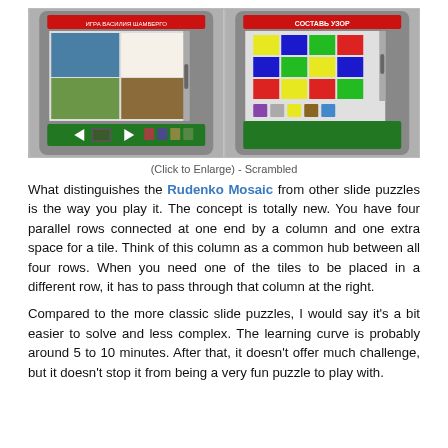[Figure (photo): Two photos of Rudenko Mosaic puzzle devices side by side. Left: a gray handheld device showing a scrambled photo of a Russian cathedral (St. Basil's) with sliding tiles. Right: a gray handheld device showing a colorful scrambled tile mosaic pattern with red, blue, green, and yellow squares.]
(Click to Enlarge) - Scrambled
What distinguishes the Rudenko Mosaic from other slide puzzles is the way you play it. The concept is totally new. You have four parallel rows connected at one end by a column and one extra space for a tile. Think of this column as a common hub between all four rows. When you need one of the tiles to be placed in a different row, it has to pass through that column at the right.
Compared to the more classic slide puzzles, I would say it's a bit easier to solve and less complex. The learning curve is probably around 5 to 10 minutes. After that, it doesn't offer much challenge, but it doesn't stop it from being a very fun puzzle to play with.